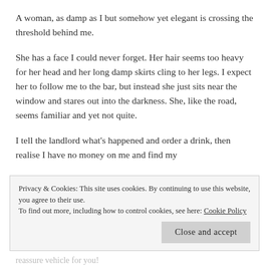A woman, as damp as I but somehow yet elegant is crossing the threshold behind me.
She has a face I could never forget. Her hair seems too heavy for her head and her long damp skirts cling to her legs. I expect her to follow me to the bar, but instead she just sits near the window and stares out into the darkness. She, like the road, seems familiar and yet not quite.
I tell the landlord what's happened and order a drink, then realise I have no money on me and find my
Privacy & Cookies: This site uses cookies. By continuing to use this website, you agree to their use.
To find out more, including how to control cookies, see here: Cookie Policy
Close and accept
reassure vehicle for you!